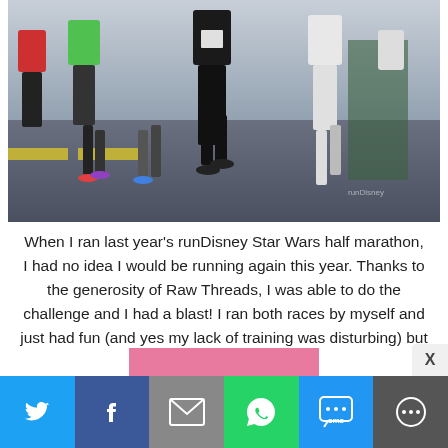[Figure (photo): Runners participating in a race on a paved road, with colorful running gear visible; photo taken from a low angle showing legs and feet mid-stride.]
When I ran last year's runDisney Star Wars half marathon, I had no idea I would be running again this year. Thanks to the generosity of Raw Threads, I was able to do the challenge and I had a blast! I ran both races by myself and just had fun (and yes my lack of training was disturbing) but it …
[Figure (screenshot): Social sharing bar at bottom with buttons for Twitter, Facebook, Email, WhatsApp, SMS, and More. An X close button appears above the bar on the right.]